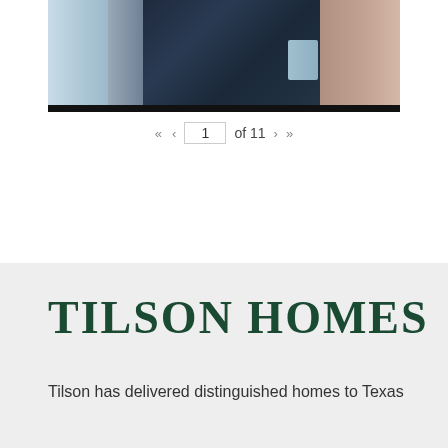[Figure (photo): Partial photo of people in dark navy clothing with light blue fabric visible on the left side, against a brick/building background on the right.]
« ‹   1  of 11   › »
TILSON HOMES
Tilson has delivered distinguished homes to Texas